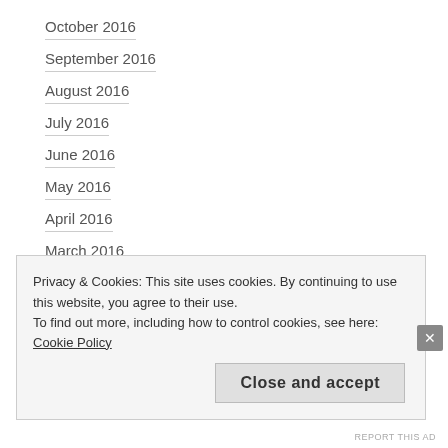October 2016
September 2016
August 2016
July 2016
June 2016
May 2016
April 2016
March 2016
February 2016
January 2016
Privacy & Cookies: This site uses cookies. By continuing to use this website, you agree to their use.
To find out more, including how to control cookies, see here: Cookie Policy
Close and accept
REPORT THIS AD